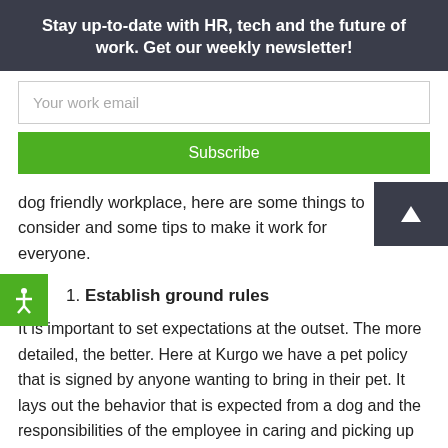Stay up-to-date with HR, tech and the future of work. Get our weekly newsletter!
Your work email
Subscribe
dog friendly workplace, here are some things to consider and some tips to make it work for everyone.
1. Establish ground rules
It is important to set expectations at the outset. The more detailed, the better. Here at Kurgo we have a pet policy that is signed by anyone wanting to bring in their pet. It lays out the behavior that is expected from a dog and the responsibilities of the employee in caring and picking up after their dog. It’s all about having clear communication between employees so no one is surprised.